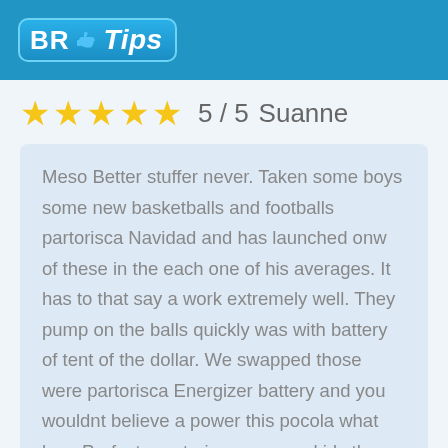BR Tips
★★★★★  5 / 5  Suanne
Meso Better stuffer never. Taken some boys some new basketballs and footballs partorisca Navidad and has launched onw of these in the each one of his averages. It has to that say a work extremely well. They pump on the balls quickly was with battery of tent of the dollar. We swapped those were partorisca Energizer battery and you wouldnt believe a power this pocola what has. Perfecto partorisca any one kids the one who touches sport